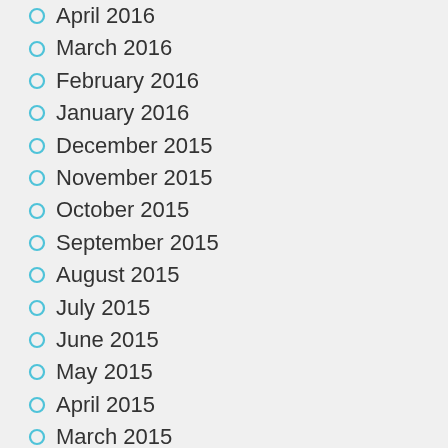April 2016
March 2016
February 2016
January 2016
December 2015
November 2015
October 2015
September 2015
August 2015
July 2015
June 2015
May 2015
April 2015
March 2015
February 2015
January 2015
December 2014
November 2014
October 2014
September 2014